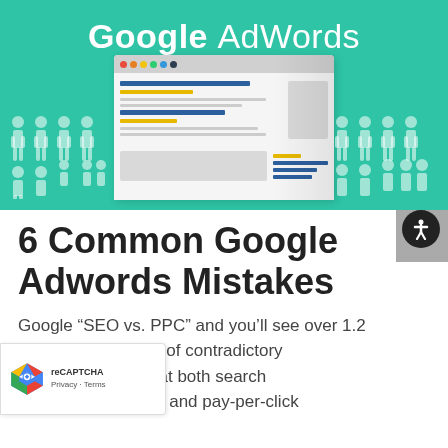[Figure (illustration): Google AdWords hero banner with teal/green background showing 'Google AdWords' text at top, a browser window mockup in the center displaying search results with blue and yellow lines, silhouette people icons on both left and right sides]
6 Common Google Adwords Mistakes
Google “SEO vs. PPC” and you’ll see over 1.2 on results and a lot of contradictory ons. The truth is that both search engine optimization and pay-per-click